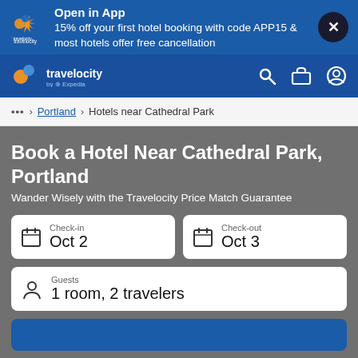[Figure (screenshot): Travelocity app banner with logo, promo text, and close button]
[Figure (screenshot): Travelocity navigation bar with logo, search, trips, and account icons]
... > Portland > Hotels near Cathedral Park
Book a Hotel Near Cathedral Park, Portland
Wander Wisely with the Travelocity Price Match Guarantee
Check-in
Oct 2
Check-out
Oct 3
Guests
1 room, 2 travelers
Choose your dates